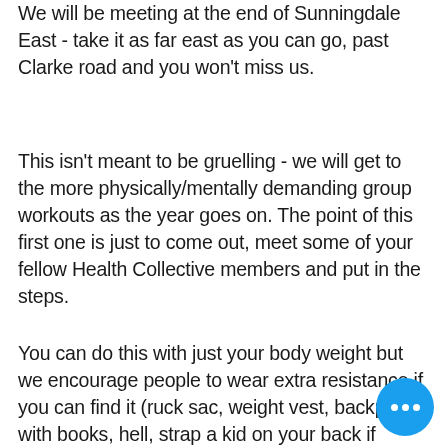We will be meeting at the end of Sunningdale East - take it as far east as you can go, past Clarke road and you won't miss us.
This isn't meant to be gruelling - we will get to the more physically/mentally demanding group workouts as the year goes on. The point of this first one is just to come out, meet some of your fellow Health Collective members and put in the steps.
You can do this with just your body weight but we encourage people to wear extra resistance if you can find it (ruck sac, weight vest, backpack with books, hell, strap a kid on your back if you've got one). The pace won't be blistering but this isn't a casual 'sip your Starbucks and stroll through the